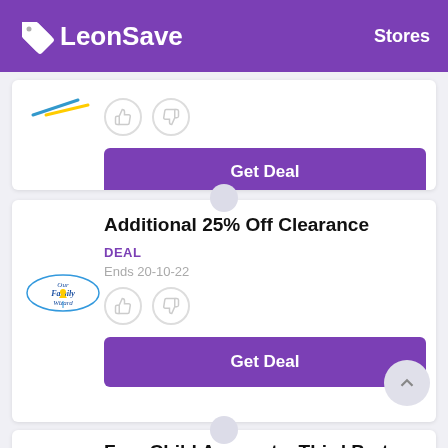LeonSave  Stores
[Figure (screenshot): Thumbs up and thumbs down icons with a Get Deal button below]
Get Deal
Additional 25% Off Clearance
DEAL
Ends 20-10-22
[Figure (logo): Our Family Wizard logo]
Get Deal
Free Child Accounts, Third Party Accounts & Professional